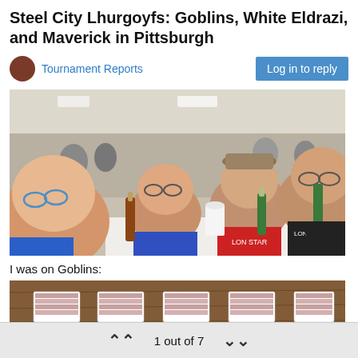Steel City Lhurgoyfs: Goblins, White Eldrazi, and Maverick in Pittsburgh
Tournament Reports
Log in to reply
[Figure (photo): Group of people sitting at a table at a tournament venue, holding beer bottles and smiling at the camera. Crowded convention hall in background.]
I was on Goblins:
[Figure (photo): Top portion of a card game deck layout on a wooden table, showing multiple stacks of playing cards.]
1 out of 7